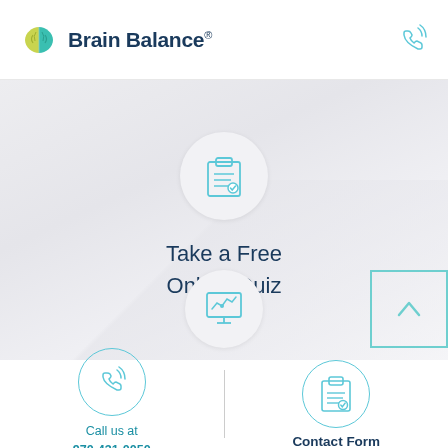[Figure (logo): Brain Balance logo with two-tone brain icon (yellow-green left half, teal-green right half) and dark navy text 'Brain Balance' with registered trademark symbol]
[Figure (illustration): Clipboard with checklist and magnifier icon inside a light gray circle, above text 'Take a Free Online Quiz']
Take a Free Online Quiz
[Figure (illustration): Computer monitor with graph/chart icon inside a light gray circle]
[Figure (illustration): Phone/call icon in a teal circular outline, with text 'Call us at 970-431-0050']
Call us at
970-431-0050
[Figure (illustration): Clipboard checklist icon in a teal circular outline, with text 'Contact Form']
Contact Form